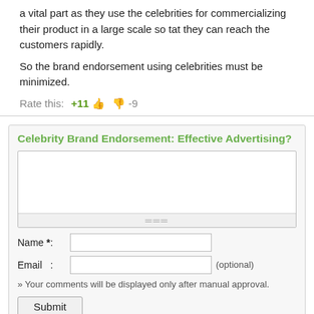a vital part as they use the celebrities for commercializing their product in a large scale so tat they can reach the customers rapidly.
So the brand endorsement using celebrities must be minimized.
Rate this:  +11 👍  👎 -9
Celebrity Brand Endorsement: Effective Advertising?
» Your comments will be displayed only after manual approval.